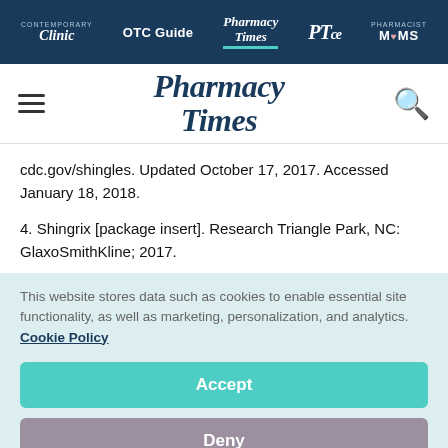Clinic | OTC Guide | Pharmacy Times | PTce | PHARMACIST MOMS
[Figure (logo): Pharmacy Times logo with hamburger menu icon and search icon]
cdc.gov/shingles. Updated October 17, 2017. Accessed January 18, 2018.
4. Shingrix [package insert]. Research Triangle Park, NC: GlaxoSmithKline; 2017.
This website stores data such as cookies to enable essential site functionality, as well as marketing, personalization, and analytics. Cookie Policy
Accept
Deny